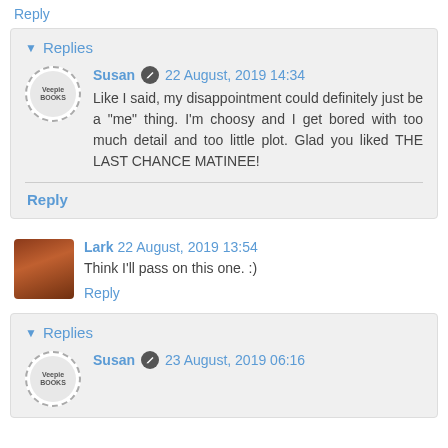Reply
Replies
Susan  22 August, 2019 14:34
Like I said, my disappointment could definitely just be a "me" thing. I'm choosy and I get bored with too much detail and too little plot. Glad you liked THE LAST CHANCE MATINEE!
Reply
Lark  22 August, 2019 13:54
Think I'll pass on this one. :)
Reply
Replies
Susan  23 August, 2019 06:16